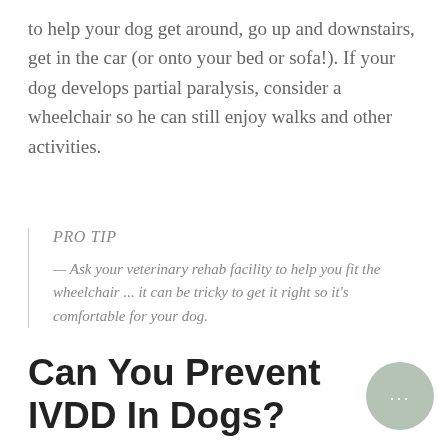to help your dog get around, go up and downstairs, get in the car (or onto your bed or sofa!). If your dog develops partial paralysis, consider a wheelchair so he can still enjoy walks and other activities.
PRO TIP
— Ask your veterinary rehab facility to help you fit the wheelchair ... it can be tricky to get it right so it's comfortable for your dog.
Can You Prevent IVDD In Dogs?